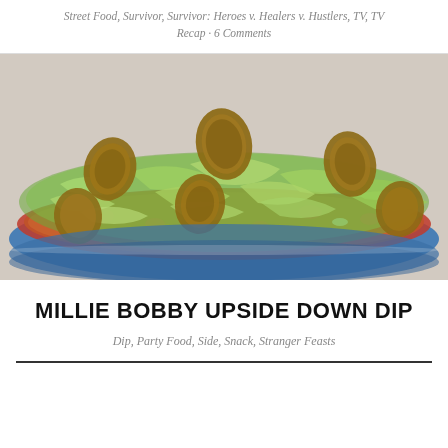Street Food, Survivor, Survivor: Heroes v. Healers v. Hustlers, TV, TV Recap · 6 Comments
[Figure (photo): A baking dish filled with layered dip topped with shredded lettuce, diced tomatoes, and toasted bread rounds, in a blue ceramic casserole dish on a light surface.]
MILLIE BOBBY UPSIDE DOWN DIP
Dip, Party Food, Side, Snack, Stranger Feasts